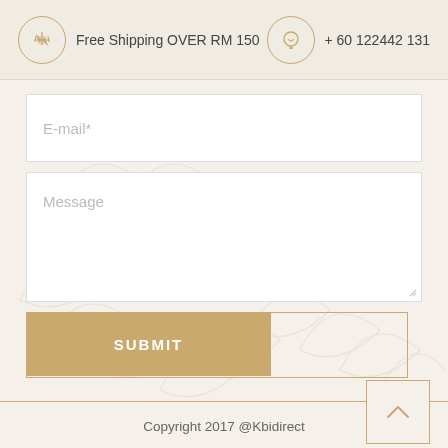Free Shipping OVER RM 150    + 60 122442 131
[Figure (screenshot): E-mail input field (text box with placeholder 'E-mail*')]
[Figure (screenshot): Message textarea field with placeholder 'Message' and resize handle]
[Figure (screenshot): Submit button with gold background and outlined container, labeled 'SUBMIT']
[Figure (other): Back-to-top button: square with gold border and upward chevron arrow]
Copyright 2017 @Kbidirect